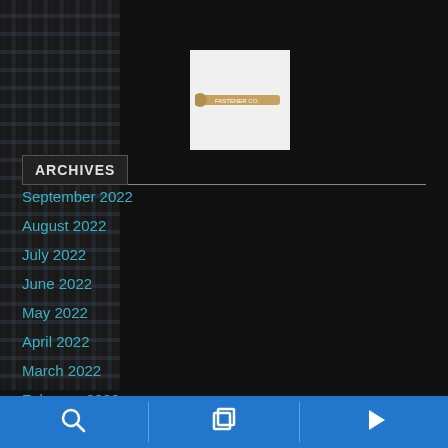[Figure (logo): Small white square logo with a golden/bronze bolt or pin element in the center]
ARCHIVES
September 2022
August 2022
July 2022
June 2022
May 2022
April 2022
March 2022
February 2022
January 2022
Search | Pages | Next